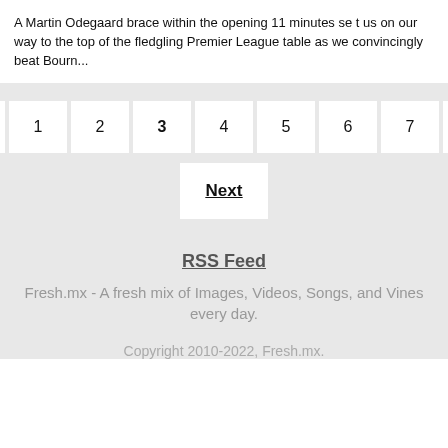A Martin Odegaard brace within the opening 11 minutes set us on our way to the top of the fledgling Premier League table as we convincingly beat Bourn...
Back | 1 | 2 | 3 | 4 | 5 | 6 | 7 | 8
Next
RSS Feed
Fresh.mx - A fresh mix of Images, Videos, Songs, and Vines every day.
Copyright 2010-2022, Fresh.mx.